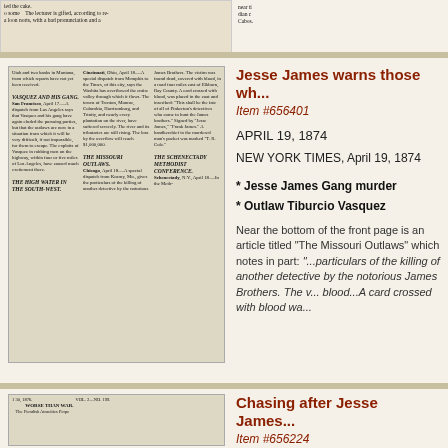[Figure (photo): Scanned newspaper top strip showing partial text about a lecturer with bad pronunciation]
[Figure (photo): Scanned newspaper page from 1874 showing articles: Vasquez and His Gang, The High Water in the South-West, The Missouri Outlaws, The Schenectady Methodist Conference]
Jesse James warns those wh...
Item #656401
APRIL 19, 1874
NEW YORK TIMES, April 19, 1874
* Jesse James Gang murder
* Outlaw Tiburcio Vasquez
Near the bottom of the front page is an article titled "The Missouri Outlaws" which notes in part: "...particulars of the killing of another detective by the notorious James Brothers. The victim was found dead, covered with blood...A card crossed with blood wa...
[Figure (photo): Scanned newspaper page showing VOL. 2-NO. 199, WORSE THAN WAR headline and The Fiendish Atrocities Perpe...]
Chasing after Jesse James...
Item #656224